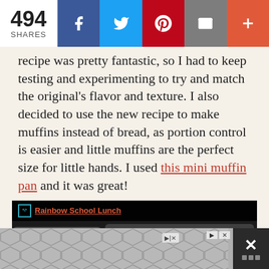494 SHARES | Facebook | Twitter | Pinterest | Email | More
recipe was pretty fantastic, so I had to keep testing and experimenting to try and match the original's flavor and texture. I also decided to use the new recipe to make muffins instead of bread, as portion control is easier and little muffins are the perfect size for little hands. I used this mini muffin pan and it was great!
[Figure (photo): Rainbow School Lunch - a lunch box filled with colorful fruits and vegetables arranged in rainbow order: pink/red radishes and cucumber slices on the left, raspberries, orange segments, yellow pineapple, kiwi and blueberries arranged in a rainbow pattern]
Rainbow School Lunch
[Figure (other): Advertisement banner with hexagonal pattern and close button]